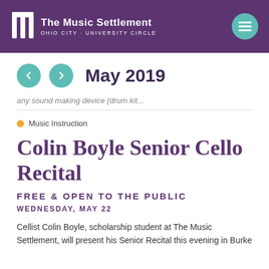The Music Settlement — OHIO CITY · UNIVERSITY CIRCLE
May 2019
any sound making device (drum kit...
Music Instruction
Colin Boyle Senior Cello Recital
FREE & OPEN TO THE PUBLIC
WEDNESDAY, MAY 22
Cellist Colin Boyle, scholarship student at The Music Settlement, will present his Senior Recital this evening in Burke